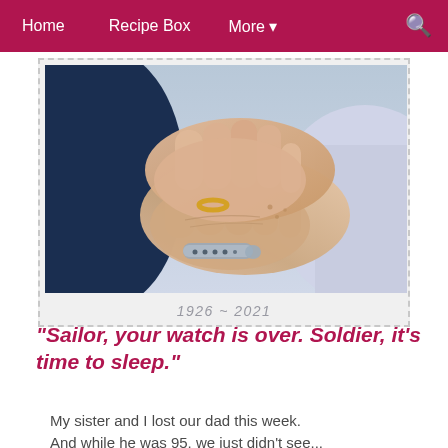Home   Recipe Box   More ▾   🔍
[Figure (photo): Close-up photograph of two pairs of hands clasped together — one wearing a gold wedding ring and the other wearing a hospital ID bracelet. Background shows dark navy sleeve and light fabric. Below the photo is the text '1926 ~ 2021'.]
1926 ~ 2021
"Sailor, your watch is over. Soldier, it's time to sleep."
My sister and I lost our dad this week. And while he was 95, we just didn't see...